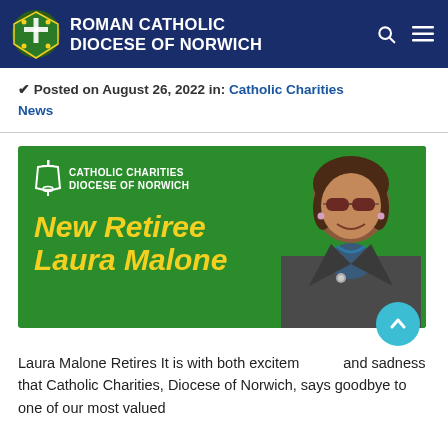Roman Catholic Diocese of Norwich
✔ Posted on August 26, 2022 in: Catholic Charities News
[Figure (infographic): Green banner from Catholic Charities Diocese of Norwich announcing 'New Retiree Laura Malone' in yellow italic text, with a photo of Laura Malone (woman with brown hair, sunglasses, smiling, wearing a grey jacket) on the right side.]
Laura Malone Retires It is with both excitement and sadness that Catholic Charities, Diocese of Norwich, says goodbye to one of our most valued